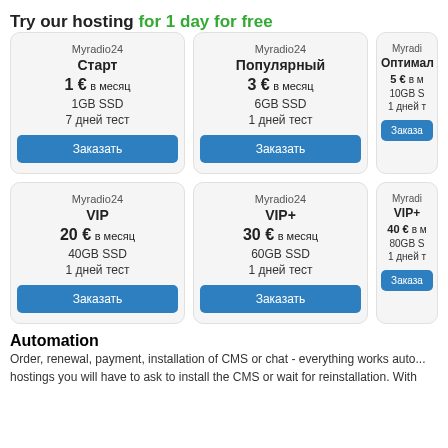Try our hosting for 1 day for free
Myradio24 Старт 1 € в месяц 1GB SSD 7 дней тест Заказать
Myradio24 Популярный 3 € в месяц 6GB SSD 1 дней тест Заказать
Myradio24 Оптимал... 5 € в м... 10GB S... 1 дней т... Заказа...
Myradio24 VIP 20 € в месяц 40GB SSD 1 дней тест Заказать
Myradio24 VIP+ 30 € в месяц 60GB SSD 1 дней тест Заказать
Myradio24 VIP+... 40 € в м... 80GB S... 1 дней т... Заказа...
Automation
Order, renewal, payment, installation of CMS or chat - everything works auto... hostings you will have to ask to install the CMS or wait for reinstallation. With